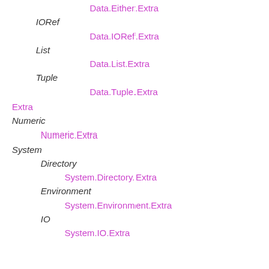Data.Either.Extra
IORef
Data.IORef.Extra
List
Data.List.Extra
Tuple
Data.Tuple.Extra
Extra
Numeric
Numeric.Extra
System
Directory
System.Directory.Extra
Environment
System.Environment.Extra
IO
System.IO.Extra